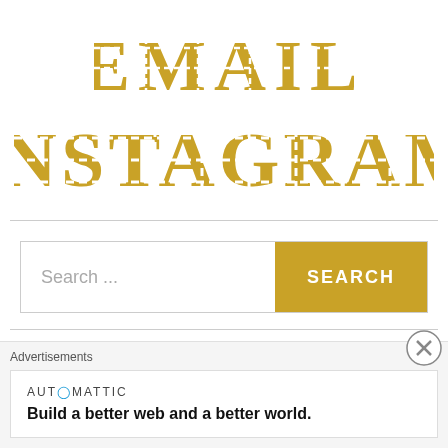[Figure (logo): EMAIL text in gold/tan stamp style letters on white background]
[Figure (logo): INSTAGRAM text in gold/tan stamp style letters on white background]
[Figure (screenshot): Search bar with placeholder 'Search ...' and a gold SEARCH button]
RECENT COMMENTS
[Figure (screenshot): Advertisements overlay with Automattic branding and tagline: Build a better web and a better world.]